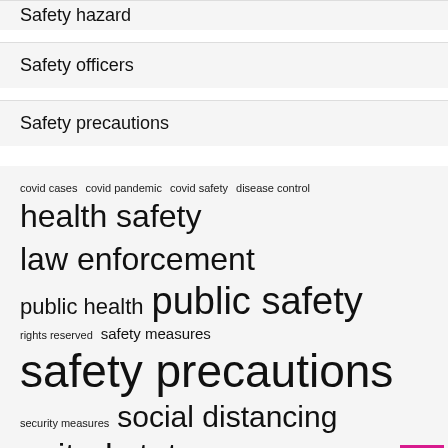Safety hazard
Safety officers
Safety precautions
covid cases  covid pandemic  covid safety  disease control  health safety  law enforcement  public health  public safety  rights reserved  safety measures  safety precautions  security measures  social distancing  united states  wear mask